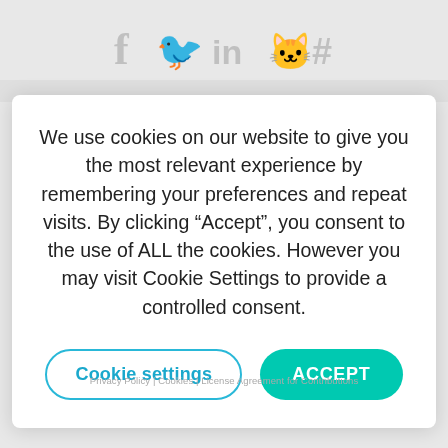[Figure (other): Social media icons bar showing Facebook (f), Twitter (bird), LinkedIn (in), GitHub (cat), and a hashtag (#) symbol, all in light gray]
We use cookies on our website to give you the most relevant experience by remembering your preferences and repeat visits. By clicking “Accept”, you consent to the use of ALL the cookies. However you may visit Cookie Settings to provide a controlled consent.
Cookie settings
ACCEPT
Privacy Policy | Cookies | License Agreement for Contributions